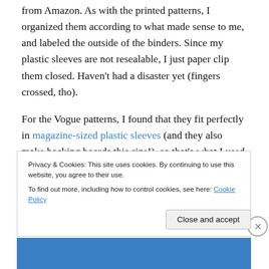from Amazon. As with the printed patterns, I organized them according to what made sense to me, and labeled the outside of the binders. Since my plastic sleeves are not resealable, I just paper clip them closed. Haven't had a disaster yet (fingers crossed, tho).

For the Vogue patterns, I found that they fit perfectly in magazine-sized plastic sleeves (and they also make backing boards this size!), so that's what I used. I didn't even buy a whole box – my shop sells them for pennies individually, so I just took what I needed. They are stored
Privacy & Cookies: This site uses cookies. By continuing to use this website, you agree to their use.
To find out more, including how to control cookies, see here: Cookie Policy